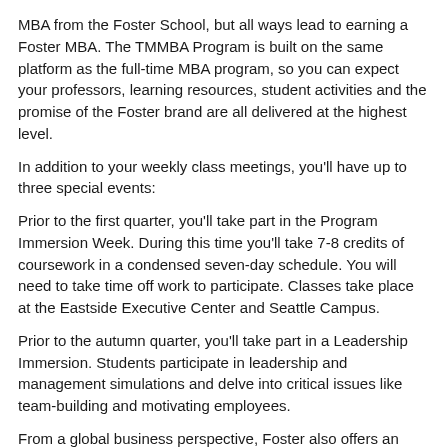MBA from the Foster School, but all ways lead to earning a Foster MBA. The TMMBA Program is built on the same platform as the full-time MBA program, so you can expect your professors, learning resources, student activities and the promise of the Foster brand are all delivered at the highest level.
In addition to your weekly class meetings, you'll have up to three special events:
Prior to the first quarter, you'll take part in the Program Immersion Week. During this time you'll take 7-8 credits of coursework in a condensed seven-day schedule. You will need to take time off work to participate. Classes take place at the Eastside Executive Center and Seattle Campus.
Prior to the autumn quarter, you'll take part in a Leadership Immersion. Students participate in leadership and management simulations and delve into critical issues like team-building and motivating employees.
From a global business perspective, Foster also offers an optional International Study Tour in the spring of the second year.